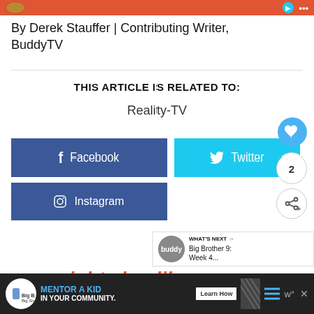[Figure (screenshot): Top red banner partial screenshot with profile image thumbnail on left and icons on right]
By Derek Stauffer | Contributing Writer, BuddyTV
THIS ARTICLE IS RELATED TO:
Reality-TV
[Figure (screenshot): Facebook share button (blue), Twitter share button (cyan blue), Instagram follow button (blue), with floating heart button, count '2', and share icon on the right side]
[Figure (screenshot): WHAT'S NEXT arrow label with BuddyTV logo circle and text 'Big Brother 9: Week 4...']
you might also like...
[Figure (screenshot): Bottom advertisement bar: Big Brothers Big Sisters logo, 'MENTOR A KID IN YOUR COMMUNITY.' headline with Learn How button, diagonal pattern, hamburger menu, and 'w°' icon]